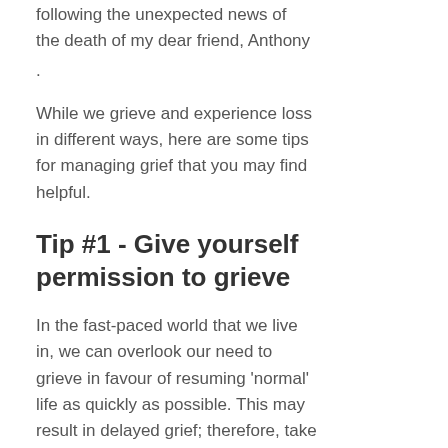following the unexpected news of the death of my dear friend, Anthony
.
While we grieve and experience loss in different ways, here are some tips for managing grief that you may find helpful.
Tip #1 - Give yourself permission to grieve
In the fast-paced world that we live in, we can overlook our need to grieve in favour of resuming 'normal' life as quickly as possible. This may result in delayed grief; therefore, take the time to embrace your emotions (showing your thoughts and feelings...